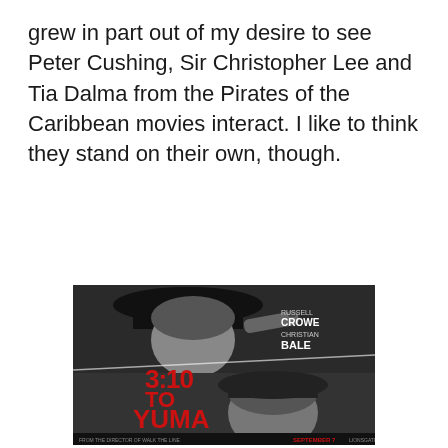grew in part out of my desire to see Peter Cushing, Sir Christopher Lee and Tia Dalma from the Pirates of the Caribbean movies interact. I like to think they stand on their own, though.
[Figure (photo): Movie poster for '3:10 to Yuma' featuring Russell Crowe and Christian Bale in black and white. The poster shows two men, one aiming a gun, with bold red title text '3:10 TO YUMA' and tagline 'TIME WAITS FOR ONE MAN'. Release date September 7, distributed by Lionsgate.]